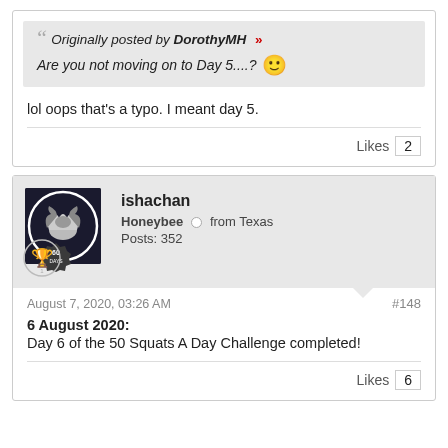Originally posted by DorothyMH » Are you not moving on to Day 5....? 🙂
lol oops that's a typo. I meant day 5.
Likes 2
ishachan
Honeybee from Texas
Posts: 352
August 7, 2020, 03:26 AM
#148
6 August 2020:
Day 6 of the 50 Squats A Day Challenge completed!
Likes 6